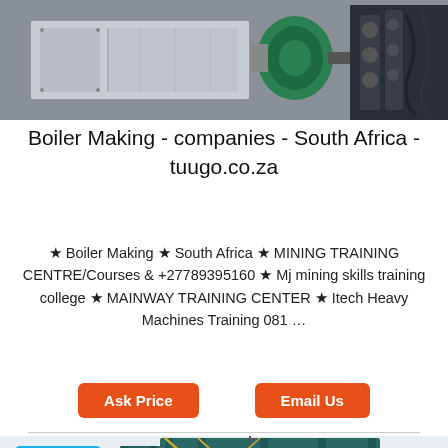[Figure (photo): Industrial boiler making machinery — grey metal machine with green motor/pump visible, industrial setting]
Boiler Making - companies - South Africa - tuugo.co.za
★ Boiler Making ★ South Africa ★ MINING TRAINING CENTRE/Courses & +27789395160 ★ Mj mining skills training college ★ MAINWAY TRAINING CENTER ★ Itech Heavy Machines Training 081 …
[Figure (screenshot): Screenshot of tuugo.co.za website showing buttons: Ask Price and Email Us, with a chat online widget (blue), and a bottom section showing a large industrial boiler/dust collector structure in teal/green color with scaffolding.]